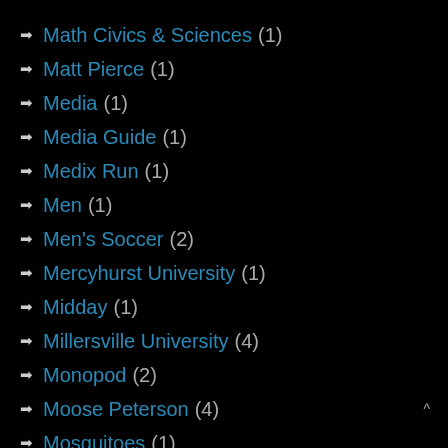Math Civics & Sciences (1)
Matt Pierce (1)
Media (1)
Media Guide (1)
Medix Run (1)
Men (1)
Men's Soccer (2)
Mercyhurst University (1)
Midday (1)
Millersville University (4)
Monopod (2)
Moose Peterson (4)
Mosquitoes (1)